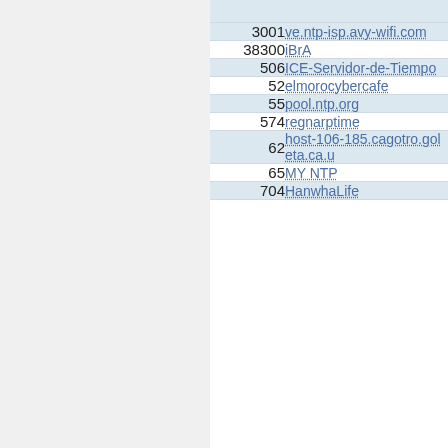| Count | Name |
| --- | --- |
| 3001 | ve.ntp-isp.avy-wifi.com |
| 38300 | iBrA |
| 506 | ICE-Servidor-de-Tiempo |
| 52 | elmorocybercafe |
| 55 | pool.ntp.org |
| 574 | regnarptime |
| 62 | host-106-185.cagotro.goleta.ca.u |
| 65 | MY NTP |
| 704 | HanwhaLife |